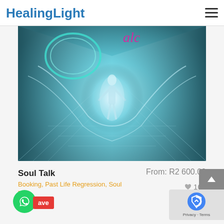HealingLight
[Figure (photo): Digital artwork showing a glowing humanoid figure standing in a luminous teal/white energy corridor with circular portal-like rings in the upper left and bright text in magenta/pink. Spiritual or metaphysical aesthetic.]
Soul Talk
From: R2 600.00
Booking, Past Life Regression, Soul Talk
169
[Figure (logo): WhatsApp icon on green circle button]
ave
[Figure (logo): reCAPTCHA logo badge with Privacy and Terms links]